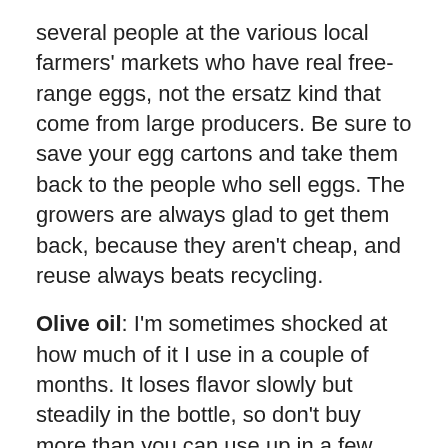several people at the various local farmers' markets who have real free-range eggs, not the ersatz kind that come from large producers. Be sure to save your egg cartons and take them back to the people who sell eggs. The growers are always glad to get them back, because they aren't cheap, and reuse always beats recycling.
Olive oil: I'm sometimes shocked at how much of it I use in a couple of months. It loses flavor slowly but steadily in the bottle, so don't buy more than you can use up in a few months, store it in a dark place, and buy from good sources where it isn't displayed in a light hot place. Find a few kinds that you like. The easiest way to find out what you like is to taste a lot of them, and the most convenient way to get started is to go to The Spanish Table in Santa Fe, where knowledgable employees will offer you samples of oils that you are interested in. Or just the ways of...